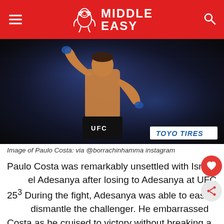MIDDLE EASY
[Figure (photo): Paulo Costa shirtless in UFC octagon, raising one arm, wearing UFC shorts and blue gloves. Toyo Tires banner visible in background.]
Image of Paulo Costa: via @borrachinhamma instagram
Paulo Costa was remarkably unsettled with Israel Adesanya after losing to Adesanya at UFC 253. During the fight, Adesanya was able to easily dismantle the challenger. He embarrassed Costa as he cruised to victory without breaking a sweat. Immediately after the 2nd round TKO victory, the